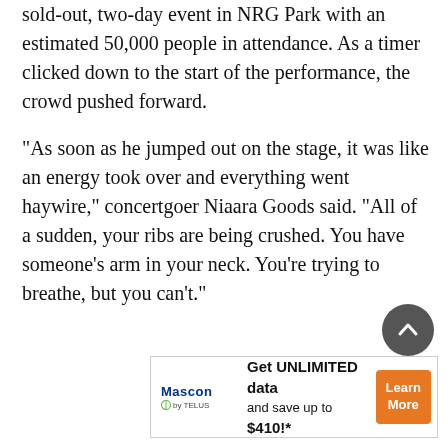sold-out, two-day event in NRG Park with an estimated 50,000 people in attendance. As a timer clicked down to the start of the performance, the crowd pushed forward.
“As soon as he jumped out on the stage, it was like an energy took over and everything went haywire,” concertgoer Niaara Goods said. “All of a sudden, your ribs are being crushed. You have someone’s arm in your neck. You’re trying to breathe, but you can’t.”
[Figure (other): Circular scroll-to-top button with upward chevron arrow, dark grey background]
[Figure (other): Mascon by TELUS advertisement banner: Get UNLIMITED data and save up to $410!* with Learn More orange button]